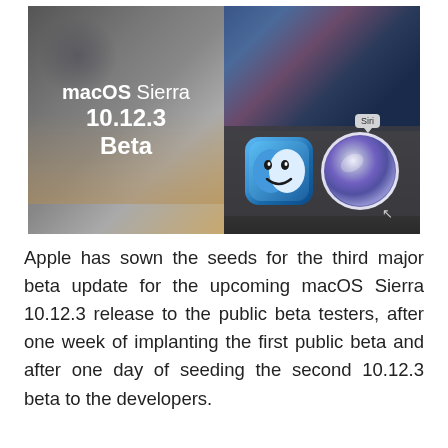[Figure (screenshot): Composite image showing macOS Sierra 10.12.3 Beta text on blurred background on the left, and macOS dock with Finder and Siri icons on the right with a Siri speech bubble tooltip]
Apple has sown the seeds for the third major beta update for the upcoming macOS Sierra 10.12.3 release to the public beta testers, after one week of implanting the first public beta and after one day of seeding the second 10.12.3 beta to the developers.